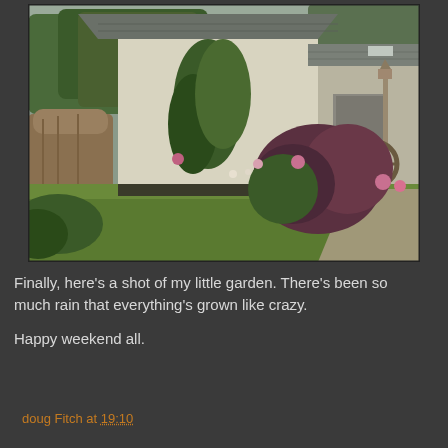[Figure (photo): Outdoor garden photo showing a white cottage/barn building with a slate roof, surrounded by lush green shrubs, grass lawn, climbing plants, a large tree stump on the left, and colourful flowering bushes on the right. Trees visible in the background against an overcast grey sky.]
Finally, here's a shot of my little garden. There's been so much rain that everything's grown like crazy.

Happy weekend all.
doug Fitch at 19:10